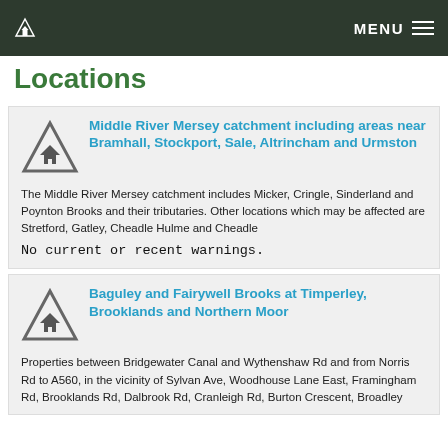MENU
Locations
Middle River Mersey catchment including areas near Bramhall, Stockport, Sale, Altrincham and Urmston
The Middle River Mersey catchment includes Micker, Cringle, Sinderland and Poynton Brooks and their tributaries. Other locations which may be affected are Stretford, Gatley, Cheadle Hulme and Cheadle
No current or recent warnings.
Baguley and Fairywell Brooks at Timperley, Brooklands and Northern Moor
Properties between Bridgewater Canal and Wythenshaw Rd and from Norris Rd to A560, in the vicinity of Sylvan Ave, Woodhouse Lane East, Framingham Rd, Brooklands Rd, Dalbrook Rd, Cranleigh Rd, Burton Crescent, Broadley